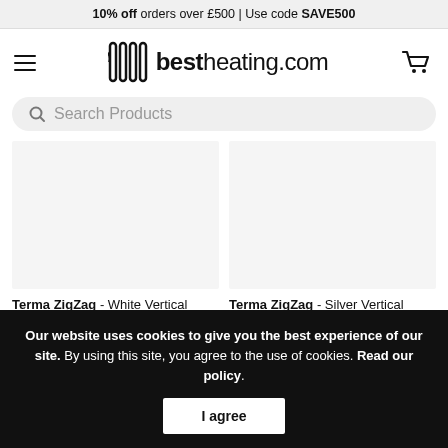10% off orders over £500 | Use code SAVE500
[Figure (logo): bestheating.com logo with radiator icon]
Search Products
Terma ZigZag - White Vertical Heated Towel Rail 1070mm x 500mm
Terma ZigZag - Silver Vertical Heated Towel Rail 1780mm x 500mm
Our website uses cookies to give you the best experience of our site. By using this site, you agree to the use of cookies. Read our policy.
I agree